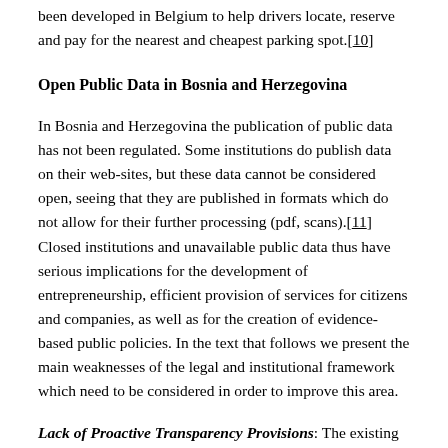been developed in Belgium to help drivers locate, reserve and pay for the nearest and cheapest parking spot.[10]
Open Public Data in Bosnia and Herzegovina
In Bosnia and Herzegovina the publication of public data has not been regulated. Some institutions do publish data on their web-sites, but these data cannot be considered open, seeing that they are published in formats which do not allow for their further processing (pdf, scans).[11] Closed institutions and unavailable public data thus have serious implications for the development of entrepreneurship, efficient provision of services for citizens and companies, as well as for the creation of evidence-based public policies. In the text that follows we present the main weaknesses of the legal and institutional framework which need to be considered in order to improve this area.
Lack of Proactive Transparency Provisions: The existing state- and entity-level freedom of information acts in BiH